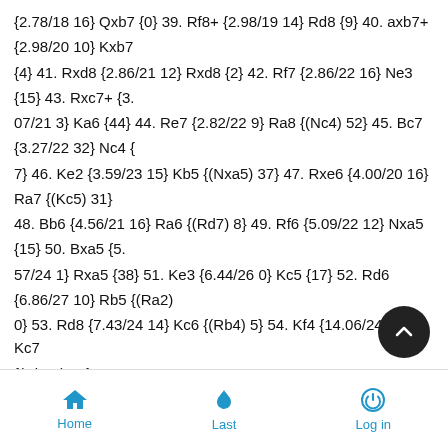{2.78/18 16} Qxb7 {0} 39. Rf8+ {2.98/19 14} Rd8 {9} 40. axb7+ {2.98/20 10} Kxb7 {4} 41. Rxd8 {2.86/21 12} Rxd8 {2} 42. Rf7 {2.86/22 16} Ne3 {15} 43. Rxc7+ {3. 07/21 3} Ka6 {44} 44. Re7 {2.82/22 9} Ra8 {(Nc4) 52} 45. Bc7 {3.27/22 32} Nc4 { 7} 46. Ke2 {3.59/23 15} Kb5 {(Nxa5) 37} 47. Rxe6 {4.00/20 16} Ra7 {(Kc5) 31} 48. Bb6 {4.56/21 16} Ra6 {(Rd7) 8} 49. Rf6 {5.09/22 12} Nxa5 {15} 50. Bxa5 {5. 57/24 1} Rxa5 {38} 51. Ke3 {6.44/26 0} Kc5 {17} 52. Rd6 {6.86/27 10} Rb5 {(Ra2) 0} 53. Rd8 {7.43/24 14} Kc6 {(Rb4) 5} 54. Kf4 {14.06/24 14} Kc7 {(Rb4+) 16} 55. Rd4 {77.08/24 8} Rb2 {6} 56. e6 {85.48/25 4} Rxg2 {(Re2) 22} 57. e7 {88.99/25 11} Rf2+ {(Re2) 22} 58. Ke3 {#10/15 1} Rf3+ {(Rf1) 9} 59. K {#9/10 0} Rc3 {
Home   Last   Log in